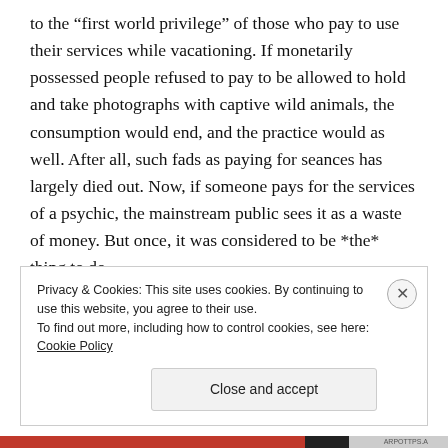to the “first world privilege” of those who pay to use their services while vacationing. If monetarily possessed people refused to pay to be allowed to hold and take photographs with captive wild animals, the consumption would end, and the practice would as well. After all, such fads as paying for seances has largely died out. Now, if someone pays for the services of a psychic, the mainstream public sees it as a waste of money. But once, it was considered to be *the* thing to do.
Privacy & Cookies: This site uses cookies. By continuing to use this website, you agree to their use. To find out more, including how to control cookies, see here: Cookie Policy